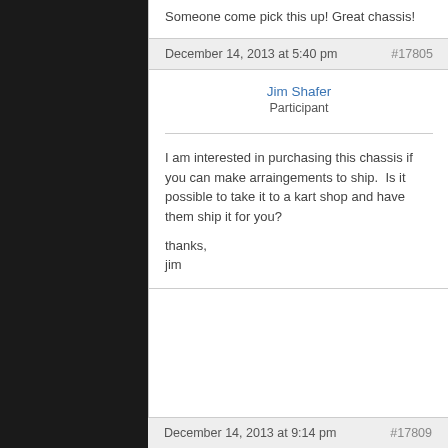Someone come pick this up! Great chassis!
December 14, 2013 at 5:40 pm    #17805
Jim Shafer
Participant
I am interested in purchasing this chassis if you can make arraingements to ship.  Is it possible to take it to a kart shop and have them ship it for you?

thanks,

jim
December 14, 2013 at 9:14 pm    #17809